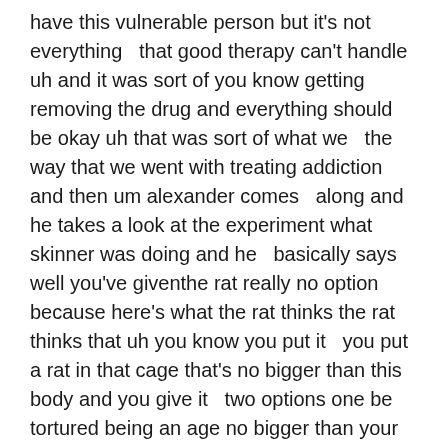have this vulnerable person but it's not everything   that good therapy can't handle uh and it was sort of you know getting   removing the drug and everything should be okay uh that was sort of what we   the way that we went with treating addiction and then um alexander comes   along and he takes a look at the experiment what skinner was doing and he   basically says well you've giventhe rat really no option   because here's what the rat thinks the rat thinks that uh you know you put it   you put a rat in that cage that's no bigger than this body and you give it   two options one be tortured being an age no bigger than your body or two check   out of life by overdosing right now imagine if i put